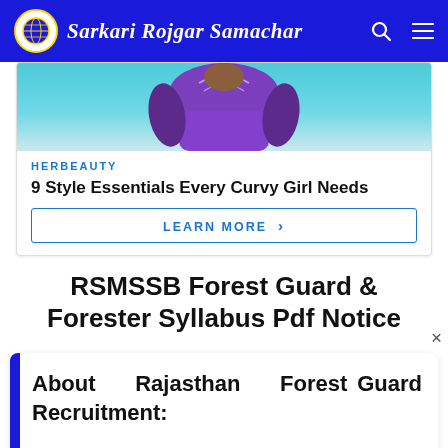Sarkari Rojgar Samachar
[Figure (screenshot): Advertisement image showing a person in purple sportswear from behind, on a teal background, for HerBeauty '9 Style Essentials Every Curvy Girl Needs' with a 'Learn More' button]
RSMSSB Forest Guard & Forester Syllabus Pdf Notice
About Rajasthan Forest Guard Recruitment: